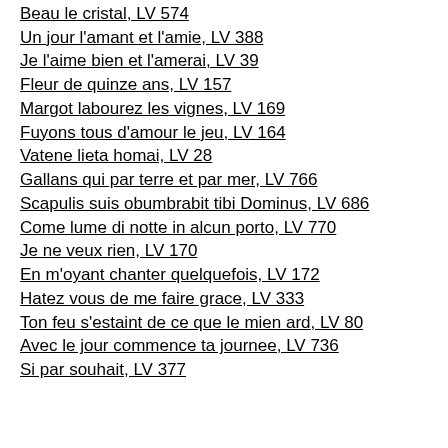Beau le cristal, LV 574
Un jour l'amant et l'amie, LV 388
Je l'aime bien et l'amerai, LV 39
Fleur de quinze ans, LV 157
Margot labourez les vignes, LV 169
Fuyons tous d'amour le jeu, LV 164
Vatene lieta homai, LV 28
Gallans qui par terre et par mer, LV 766
Scapulis suis obumbrabit tibi Dominus, LV 686
Come lume di notte in alcun porto, LV 770
Je ne veux rien, LV 170
En m'oyant chanter quelquefois, LV 172
Hatez vous de me faire grace, LV 333
Ton feu s'estaint de ce que le mien ard, LV 80
Avec le jour commence ta journee, LV 736
Si par souhait, LV 377